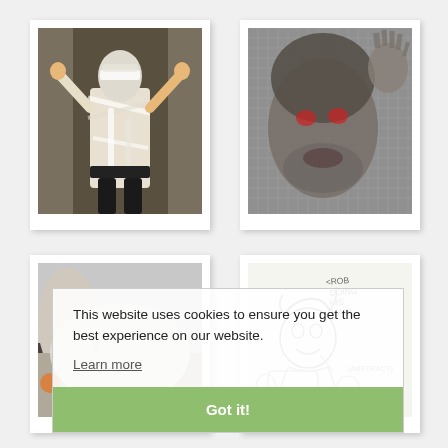[Figure (photo): Person dressed as a mummy with bandages wrapped around their face and body, arms raised, standing in a doorway]
[Figure (photo): Zombie face pressed against a glass or mesh screen, with hand raised, scary Halloween scene]
[Figure (photo): Partial photo visible behind cookie consent overlay, snowy or white scene]
[Figure (illustration): Cartoon pencil drawing visible behind cookie consent overlay, showing a character with text annotations 'ROB DOING HIS HAIR' and '(ABSTRACT)']
This website uses cookies to ensure you get the best experience on our website.
Learn more
Got it!